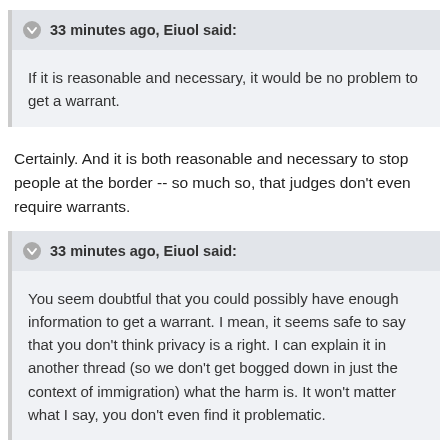33 minutes ago, Eiuol said:
If it is reasonable and necessary, it would be no problem to get a warrant.
Certainly. And it is both reasonable and necessary to stop people at the border -- so much so, that judges don't even require warrants.
33 minutes ago, Eiuol said:
You seem doubtful that you could possibly have enough information to get a warrant. I mean, it seems safe to say that you don't think privacy is a right. I can explain it in another thread (so we don't get bogged down in just the context of immigration) what the harm is. It won't matter what I say, you don't even find it problematic.
Why wouldn't it matter what you say? Don't you have a good argument to make?